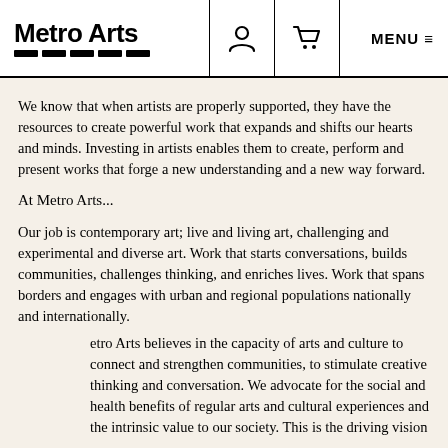Metro Arts — navigation header with logo, user icon, cart icon, MENU
We know that when artists are properly supported, they have the resources to create powerful work that expands and shifts our hearts and minds. Investing in artists enables them to create, perform and present works that forge a new understanding and a new way forward.
At Metro Arts...
Our job is contemporary art; live and living art, challenging and experimental and diverse art. Work that starts conversations, builds communities, challenges thinking, and enriches lives. Work that spans borders and engages with urban and regional populations nationally and internationally.
Metro Arts believes in the capacity of arts and culture to connect and strengthen communities, to stimulate creative thinking and conversation. We advocate for the social and health benefits of regular arts and cultural experiences and the intrinsic value to our society. This is the driving vision...